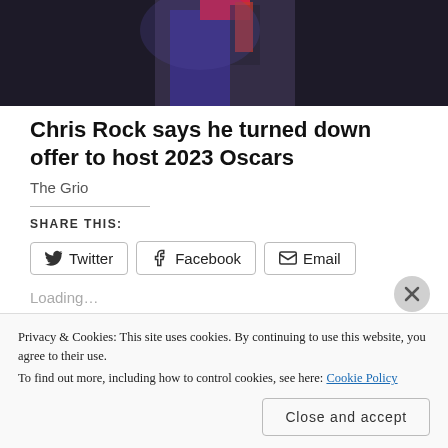[Figure (photo): Top portion of a photo showing a person on stage, dark background with stage lighting.]
Chris Rock says he turned down offer to host 2023 Oscars
The Grio
SHARE THIS:
Loading...
Privacy & Cookies: This site uses cookies. By continuing to use this website, you agree to their use.
To find out more, including how to control cookies, see here: Cookie Policy